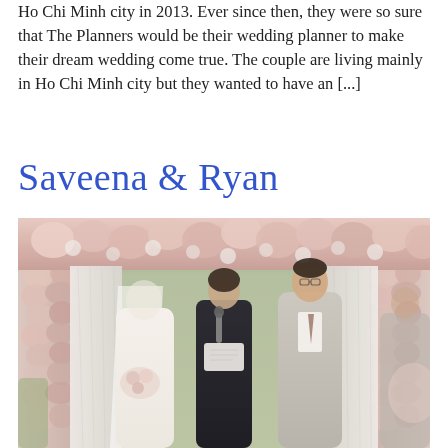Ho Chi Minh city in 2013. Ever since then, they were so sure that The Planners would be their wedding planner to make their dream wedding come true. The couple are living mainly in Ho Chi Minh city but they wanted to have an [...]
Saveena & Ryan
[Figure (photo): Wedding ceremony photo showing a bride in white dress with veil and groom in light grey suit standing at a floral arch decorated with pink and white roses and white draping fabric. An officiant in navy dress holds a microphone and book between them. A partial figure is visible on the far right.]